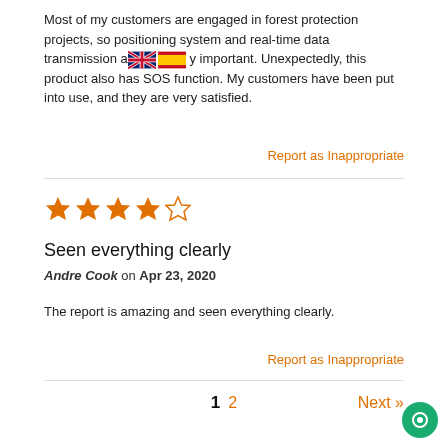Most of my customers are engaged in forest protection projects, so positioning system and real-time data transmission are very important. Unexpectedly, this product also has SOS function. My customers have been put into use, and they are very satisfied.
Report as Inappropriate
[Figure (other): 4 out of 5 stars rating]
Seen everything clearly
Andre Cook on Apr 23, 2020
The report is amazing and seen everything clearly.
Report as Inappropriate
1 2  Next »